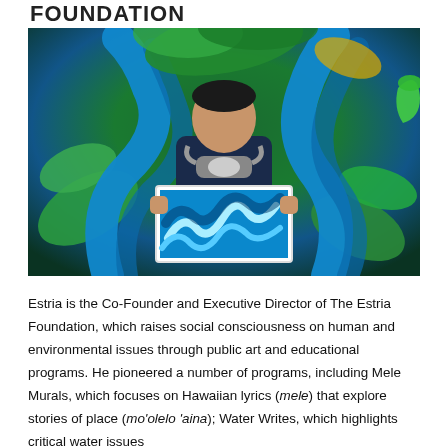FOUNDATION
[Figure (photo): A man standing in front of a large colorful mural featuring blue and green octopus-like tentacles and tropical imagery. He is wearing a navy long-sleeve shirt with a respirator/gas mask hanging around his neck, and he is holding a framed print of a blue abstract artwork.]
Estria is the Co-Founder and Executive Director of The Estria Foundation, which raises social consciousness on human and environmental issues through public art and educational programs. He pioneered a number of programs, including Mele Murals, which focuses on Hawaiian lyrics (mele) that explore stories of place (mo'olelo 'aina); Water Writes, which highlights critical water issues